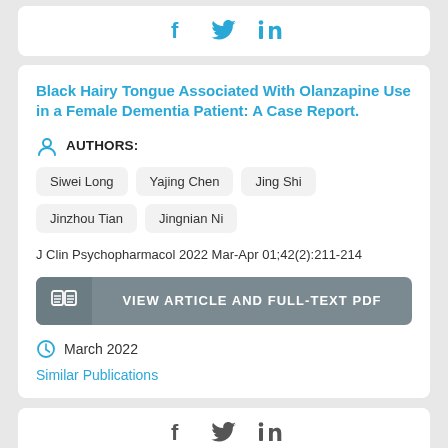[Figure (other): Social media share icons: Facebook, Twitter, LinkedIn]
Black Hairy Tongue Associated With Olanzapine Use in a Female Dementia Patient: A Case Report.
AUTHORS:
Siwei Long
Yajing Chen
Jing Shi
Jinzhou Tian
Jingnian Ni
J Clin Psychopharmacol 2022 Mar-Apr 01;42(2):211-214
VIEW ARTICLE AND FULL-TEXT PDF
March 2022
Similar Publications
[Figure (other): Social media share icons: Facebook, Twitter, LinkedIn]